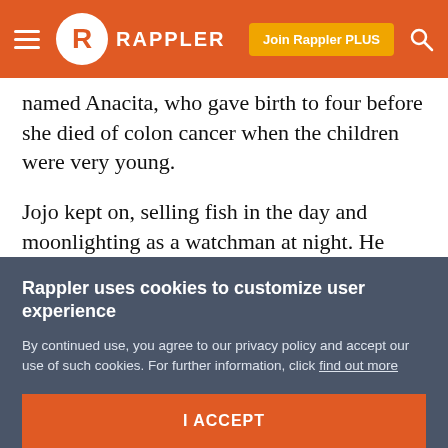Rappler — Join Rappler PLUS
named Anacita, who gave birth to four before she died of colon cancer when the children were very young.
Jojo kept on, selling fish in the day and moonlighting as a watchman at night. He roamed the small coastal village of San Jose with his nightstick, breaking up drunken fights and keeping the peace.
He was sitting at the village hall one day, already ten years a widower with his children grown, when a
Rappler uses cookies to customize user experience
By continued use, you agree to our privacy policy and accept our use of such cookies. For further information, click find out more
I ACCEPT